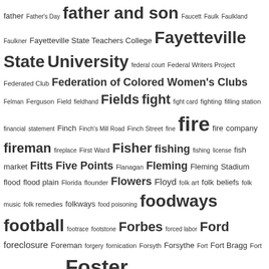father Father's Day father and son Faucett Faulk Faulkland Faulkner Fayetteville State Teachers College Fayetteville State University federal court Federal Writers Project Federated Club Federation of Colored Women's Clubs Felman Ferguson Field fieldhand Fields fight fight card fighting filling station financial statement Finch Finch's Mill Road Finch Street fine fire fire company fireman fireplace First Ward Fisher fishing fishing license fish market Fitts Five Points Flanagan Fleming Fleming Stadium flood flood plain Florida flounder Flowers Floyd folk art folk beliefs folk music folk remedies folkways food poisoning foodways football footrace footstone Forbes forced labor Ford foreclosure Foreman forgery fornication Forsyth Forsythe Fort Fort Bragg Fort Macon fortune teller Foster foster child foundry Fourth of July Fox France Franklin Franklin County Franklin County NC Franklin D. Roosevelt fraternal organization fratricide fraud Frederick Douglass High School free-for-all freedmen Freedmen's Bank Freedmen's Bureau Freeman Freeman